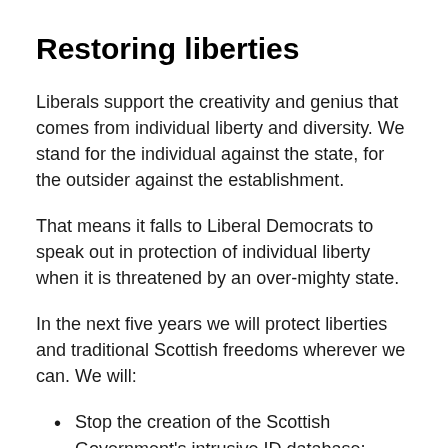Restoring liberties
Liberals support the creativity and genius that comes from individual liberty and diversity. We stand for the individual against the state, for the outsider against the establishment.
That means it falls to Liberal Democrats to speak out in protection of individual liberty when it is threatened by an over-mighty state.
In the next five years we will protect liberties and traditional Scottish freedoms wherever we can. We will:
Stop the creation of the Scottish Government's intrusive ID database;